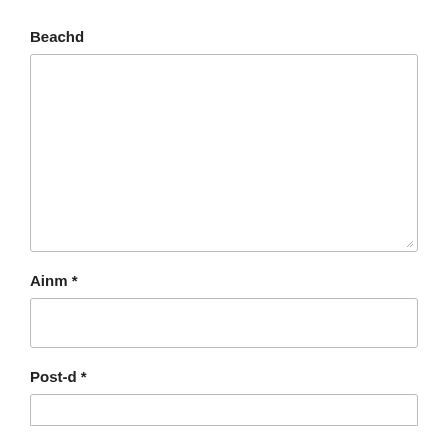Beachd
[Figure (other): Large empty textarea form field]
Ainm *
[Figure (other): Single-line text input form field]
Post-d *
[Figure (other): Single-line text input form field (partially visible)]